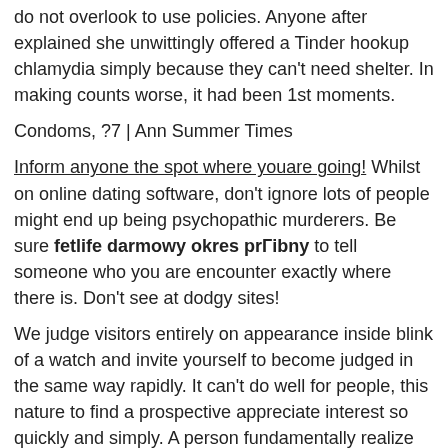do not overlook to use policies. Anyone after explained she unwittingly offered a Tinder hookup chlamydia simply because they can't need shelter. In making counts worse, it had been 1st moments.
Condoms, ?7 | Ann Summer Times
Inform anyone the spot where youare going! Whilst on online dating software, don't ignore lots of people might end up being psychopathic murderers. Be sure fetlife darmowy okres próbny to tell someone who you are encounter exactly where there is. Don't see at dodgy sites!
We judge visitors entirely on appearance inside blink of a watch and invite yourself to become judged in the same way rapidly. It can't do well for people, this nature to find a prospective appreciate interest so quickly and simply. A person fundamentally realize that when someone gets a